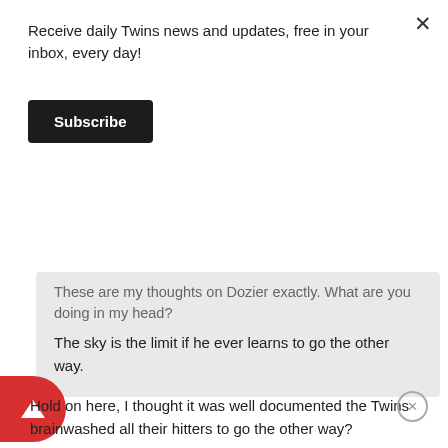Receive daily Twins news and updates, free in your inbox, every day!
Subscribe
These are my thoughts on Dozier exactly. What are you doing in my head?
The sky is the limit if he ever learns to go the other way.
Hold on here, I thought it was well documented the Twins brainwashed all their hitters to go the other way?